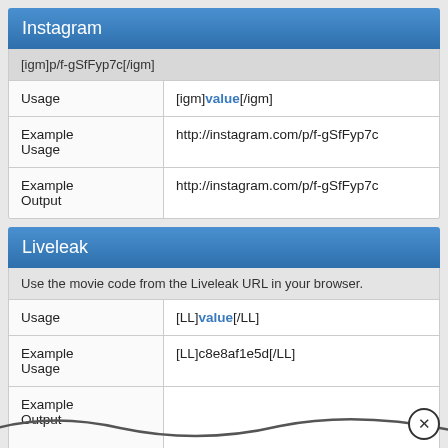Instagram
| [igm]p/f-gSfFyp7c[/igm] |
| Usage | [igm]value[/igm] |
| Example Usage | http://instagram.com/p/f-gSfFyp7c |
| Example Output | http://instagram.com/p/f-gSfFyp7c |
Liveleak
Use the movie code from the Liveleak URL in your browser.
| Usage | [LL]value[/LL] |
| Example Usage | [LL]c8e8af1e5d[/LL] |
| Example Output |  |